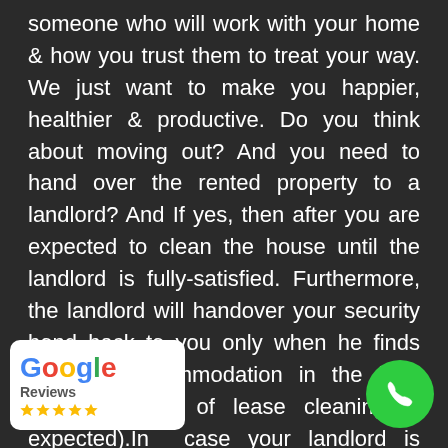someone who will work with your home & how you trust them to treat your way. We just want to make you happier, healthier & productive. Do you think about moving out? And you need to hand over the rented property to a landlord? And If yes, then after you are expected to clean the house until the landlord is fully-satisfied. Furthermore, the landlord will handover your security bond back to you only when he finds that the accommodation in the best condition (end of lease cleaning is expected).In case your landlord is unhappy with any aspect of their clean, the professionals return back in no time or the standards of your property manager. Know more end of lease cleaning
[Figure (logo): Google Reviews badge with 4 gold stars, white background]
[Figure (illustration): Green phone call button (circular, bottom right)]